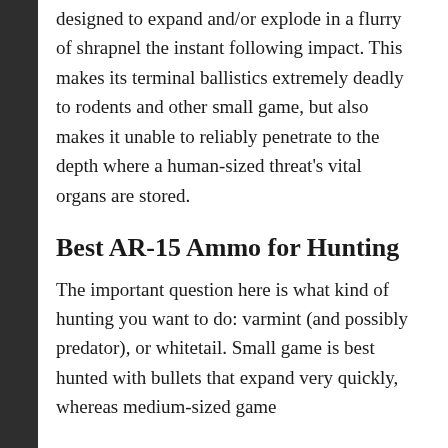designed to expand and/or explode in a flurry of shrapnel the instant following impact. This makes its terminal ballistics extremely deadly to rodents and other small game, but also makes it unable to reliably penetrate to the depth where a human-sized threat's vital organs are stored.
Best AR-15 Ammo for Hunting
The important question here is what kind of hunting you want to do: varmint (and possibly predator), or whitetail. Small game is best hunted with bullets that expand very quickly, whereas medium-sized game